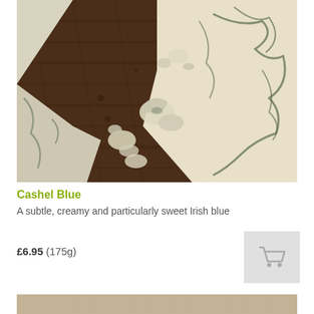[Figure (photo): Close-up photo of Cashel Blue cheese crumbled on a dark wooden surface, showing blue-green mold veins and creamy white texture]
Cashel Blue
A subtle, creamy and particularly sweet Irish blue
£6.95 (175g)
[Figure (photo): Partial view of another product photo at the bottom of the page]